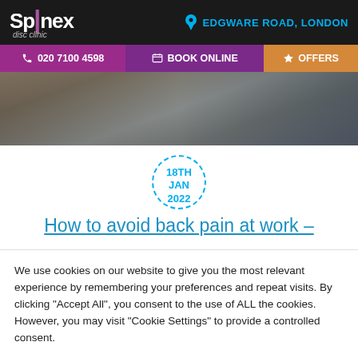Spinex disc clinic | EDGWARE ROAD, LONDON
020 7100 4598 | BOOK ONLINE | OFFERS
[Figure (photo): Office desk scene with laptop and chair, blurred background]
18TH JAN 2022
How to avoid back pain at work –
We use cookies on our website to give you the most relevant experience by remembering your preferences and repeat visits. By clicking "Accept All", you consent to the use of ALL the cookies. However, you may visit "Cookie Settings" to provide a controlled consent.
Cookie Settings | Accept All